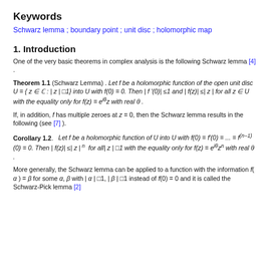Keywords
Schwarz lemma ;  boundary point ;  unit disc ;  holomorphic map
1. Introduction
One of the very basic theorems in complex analysis is the following Schwarz lemma [4] .
Theorem 1.1 (Schwarz Lemma) . Let f be a holomorphic function of the open unit disc U = { z ∈ ℂ : | z | □1} into U with f(0) = 0. Then | f '(0)| ≤1 and | f(z)| ≤| z | for all z ∈ U with the equality only for f(z) = e^{iθ}z with real θ .
If, in addition, f has multiple zeroes at z = 0, then the Schwarz lemma results in the following (see [7] ).
Corollary 1.2.   Let f be a holomorphic function of U into U with f(0) = f'(0) = ... = f^{(n−1)}(0) = 0. Then | f(z)| ≤| z |^n  for all| z |□1 with the equality only for f(z) = e^{iθ}z^n with real θ .
More generally, the Schwarz lemma can be applied to a function with the information f( α ) = β for some α, β with | α | □1, | β | □1 instead of f(0) = 0 and it is called the Schwarz-Pick lemma [2]